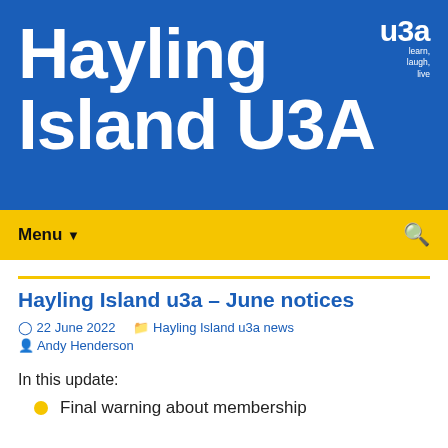Hayling Island U3A
[Figure (logo): u3a logo with tagline: learn, laugh, live]
Menu
Hayling Island u3a - June notices
22 June 2022  Hayling Island u3a news  Andy Henderson
In this update:
Final warning about membership